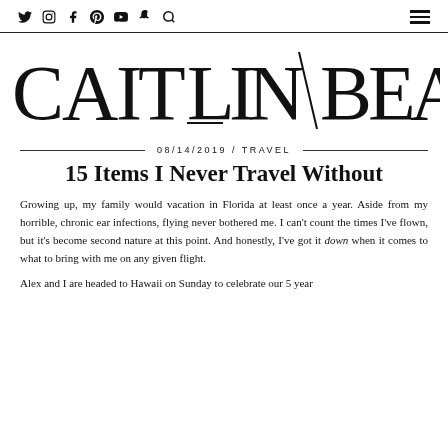Social icons: Twitter, Instagram, Facebook, Pinterest, YouTube, Snapchat, Search | Hamburger menu
[Figure (logo): CAITLIN/BEA blog logo in large spaced serif letters with a diagonal slash between CAITLIN and BEA]
08/14/2019 / TRAVEL
15 Items I Never Travel Without
Growing up, my family would vacation in Florida at least once a year. Aside from my horrible, chronic ear infections, flying never bothered me. I can't count the times I've flown, but it's become second nature at this point. And honestly, I've got it down when it comes to what to bring with me on any given flight.
Alex and I are headed to Hawaii on Sunday to celebrate our 5 year